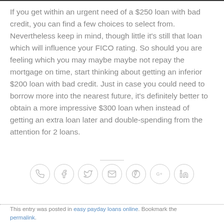If you get within an urgent need of a $250 loan with bad credit, you can find a few choices to select from. Nevertheless keep in mind, though little it's still that loan which will influence your FICO rating. So should you are feeling which you may maybe maybe not repay the mortgage on time, start thinking about getting an inferior $200 loan with bad credit. Just in case you could need to borrow more into the nearest future, it's definitely better to obtain a more impressive $300 loan when instead of getting an extra loan later and double-spending from the attention for 2 loans.
[Figure (infographic): A row of 7 social sharing icon circles (phone, Facebook, Twitter, email, Pinterest, Google+, LinkedIn) separated by a horizontal divider line above them.]
This entry was posted in easy payday loans online. Bookmark the permalink.